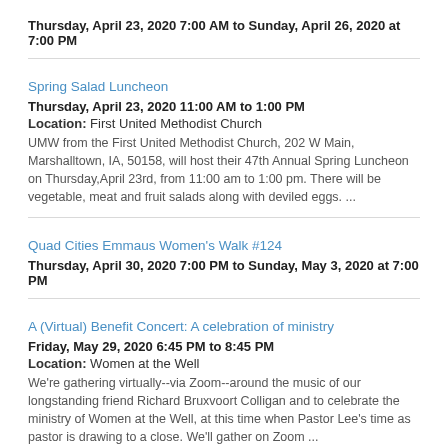Thursday, April 23, 2020 7:00 AM to Sunday, April 26, 2020 at 7:00 PM
Spring Salad Luncheon
Thursday, April 23, 2020 11:00 AM to 1:00 PM
Location: First United Methodist Church
UMW from the First United Methodist Church, 202 W Main, Marshalltown, IA, 50158, will host their 47th Annual Spring Luncheon on Thursday,April 23rd, from 11:00 am to 1:00 pm. There will be vegetable, meat and fruit salads along with deviled eggs. ...
Quad Cities Emmaus Women's Walk #124
Thursday, April 30, 2020 7:00 PM to Sunday, May 3, 2020 at 7:00 PM
A (Virtual) Benefit Concert: A celebration of ministry
Friday, May 29, 2020 6:45 PM to 8:45 PM
Location: Women at the Well
We're gathering virtually--via Zoom--around the music of our longstanding friend Richard Bruxvoort Colligan and to celebrate the ministry of Women at the Well, at this time when Pastor Lee's time as pastor is drawing to a close. We'll gather on Zoom ...
View more